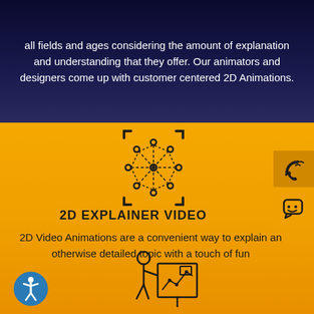all fields and ages considering the amount of explanation and understanding that they offer. Our animators and designers come up with customer centered 2D Animations.
[Figure (illustration): 3D cube/network node icon with corner brackets, representing 2D animation or 3D modeling]
[Figure (illustration): Phone with sound waves icon (call button) and chat/message icon on the right side]
2D EXPLAINER VIDEO
2D Video Animations are a convenient way to explain an otherwise detailed topic with a touch of fun
[Figure (illustration): Accessibility icon (person in circle) and presenter pointing at a board with analytics/chart icon]